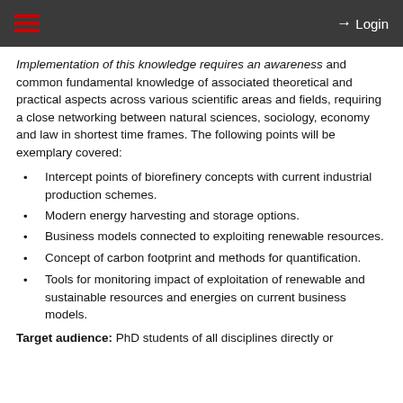Login
Implementation of this knowledge requires an awareness and common fundamental knowledge of associated theoretical and practical aspects across various scientific areas and fields, requiring a close networking between natural sciences, sociology, economy and law in shortest time frames. The following points will be exemplary covered:
Intercept points of biorefinery concepts with current industrial production schemes.
Modern energy harvesting and storage options.
Business models connected to exploiting renewable resources.
Concept of carbon footprint and methods for quantification.
Tools for monitoring impact of exploitation of renewable and sustainable resources and energies on current business models.
Target audience: PhD students of all disciplines directly or